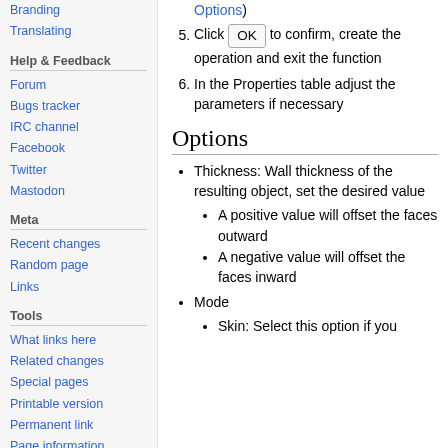Branding
Translating
Help & Feedback
Forum
Bugs tracker
IRC channel
Facebook
Twitter
Mastodon
Meta
Recent changes
Random page
Links
Tools
What links here
Related changes
Special pages
Printable version
Permanent link
Page information
Options)
5. Click OK to confirm, create the operation and exit the function
6. In the Properties table adjust the parameters if necessary
Options
Thickness: Wall thickness of the resulting object, set the desired value
A positive value will offset the faces outward
A negative value will offset the faces inward
Mode
Skin: Select this option if you